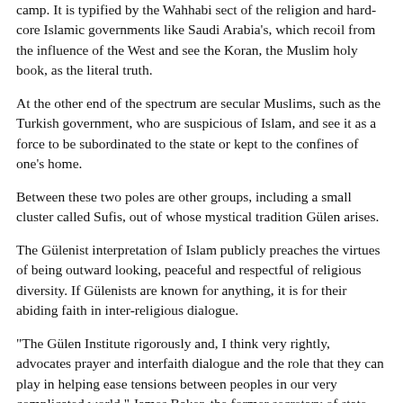camp. It is typified by the Wahhabi sect of the religion and hard-core Islamic governments like Saudi Arabia's, which recoil from the influence of the West and see the Koran, the Muslim holy book, as the literal truth.
At the other end of the spectrum are secular Muslims, such as the Turkish government, who are suspicious of Islam, and see it as a force to be subordinated to the state or kept to the confines of one's home.
Between these two poles are other groups, including a small cluster called Sufis, out of whose mystical tradition Gülen arises.
The Gülenist interpretation of Islam publicly preaches the virtues of being outward looking, peaceful and respectful of religious diversity. If Gülenists are known for anything, it is for their abiding faith in inter-religious dialogue.
“The Gülen Institute rigorously and, I think very rightly, advocates prayer and interfaith dialogue and the role that they can play in helping ease tensions between peoples in our very complicated world,” James Baker, the former secretary of state, said to a Houston gathering of the institute in 2008.
They also promote engagement in science and education. While their work has a political aspect — in the sense that many Gülenists are concerned with social justice and communal responsibility — they